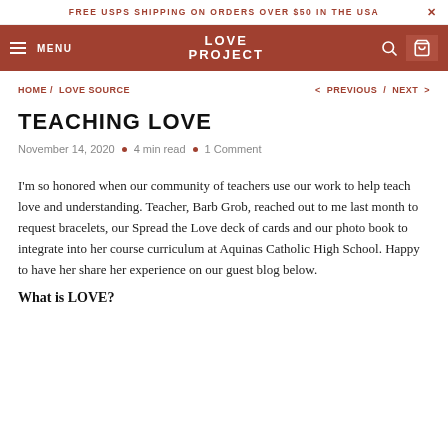FREE USPS SHIPPING ON ORDERS OVER $50 IN THE USA
MENU / LOVE PROJECT
HOME / LOVE SOURCE < PREVIOUS / NEXT >
TEACHING LOVE
November 14, 2020 • 4 min read • 1 Comment
I'm so honored when our community of teachers use our work to help teach love and understanding. Teacher, Barb Grob, reached out to me last month to request bracelets, our Spread the Love deck of cards and our photo book to integrate into her course curriculum at Aquinas Catholic High School. Happy to have her share her experience on our guest blog below.
What is LOVE?